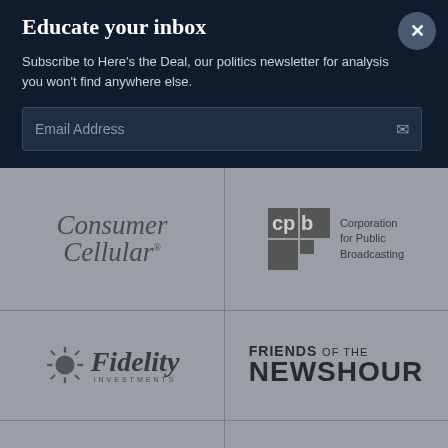Educate your inbox
Subscribe to Here's the Deal, our politics newsletter for analysis you won't find anywhere else.
Email Address
[Figure (logo): Consumer Cellular logo in italic serif font]
[Figure (logo): CPB - Corporation for Public Broadcasting logo with grey square icon]
[Figure (logo): Fidelity Investments logo with sunburst icon]
[Figure (logo): Friends of the NewsHour text logo]